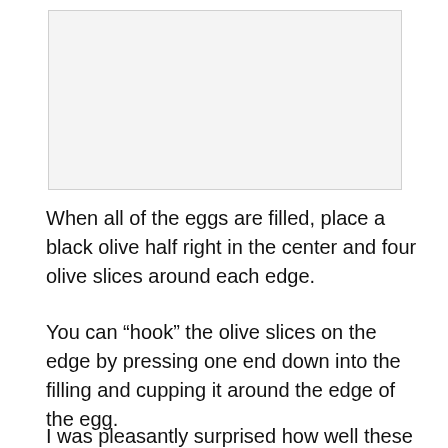[Figure (photo): Photo placeholder showing a food image, light gray background]
When all of the eggs are filled, place a black olive half right in the center and four olive slices around each edge.
You can “hook” the olive slices on the edge by pressing one end down into the filling and cupping it around the edge of the egg.
I was pleasantly surprised how well these